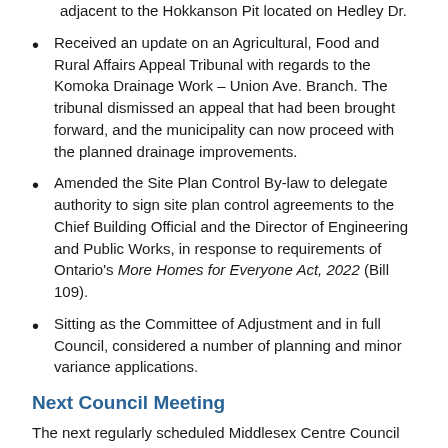adjacent to the Hokkanson Pit located on Hedley Dr.
Received an update on an Agricultural, Food and Rural Affairs Appeal Tribunal with regards to the Komoka Drainage Work – Union Ave. Branch. The tribunal dismissed an appeal that had been brought forward, and the municipality can now proceed with the planned drainage improvements.
Amended the Site Plan Control By-law to delegate authority to sign site plan control agreements to the Chief Building Official and the Director of Engineering and Public Works, in response to requirements of Ontario's More Homes for Everyone Act, 2022 (Bill 109).
Sitting as the Committee of Adjustment and in full Council, considered a number of planning and minor variance applications.
Next Council Meeting
The next regularly scheduled Middlesex Centre Council Meeting is set for Wednesday, July 6, 2022, at 9:30am.
Meeting times are subject to change, so please confirm with the